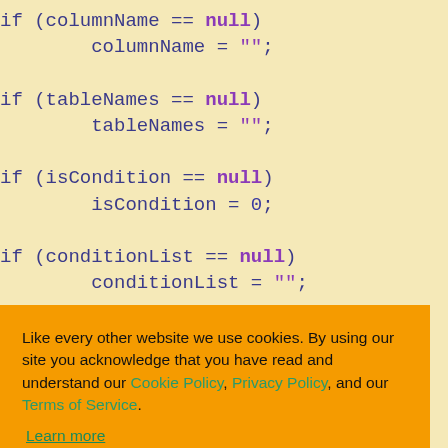[Figure (screenshot): Code snippet on yellow background showing null checks in a programming language (likely C# or Java). Variables: columnName, tableNames, isCondition, conditionList, isGroupBY, and string assignment with rings["dashbo ard"].ToString();]
Like every other website we use cookies. By using our site you acknowledge that you have read and understand our Cookie Policy, Privacy Policy, and our Terms of Service.
Learn more
Ask me later   Decline   Allow cookies